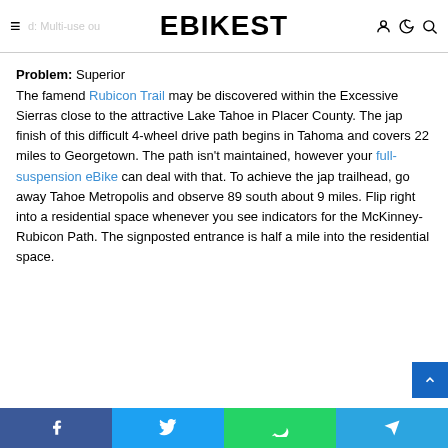EBIKEST
Problem: Superior
The famend Rubicon Trail may be discovered within the Excessive Sierras close to the attractive Lake Tahoe in Placer County. The jap finish of this difficult 4-wheel drive path begins in Tahoma and covers 22 miles to Georgetown. The path isn't maintained, however your full-suspension eBike can deal with that. To achieve the jap trailhead, go away Tahoe Metropolis and observe 89 south about 9 miles. Flip right into a residential space whenever you see indicators for the McKinney-Rubicon Path. The signposted entrance is half a mile into the residential space.
Facebook Twitter WhatsApp Telegram